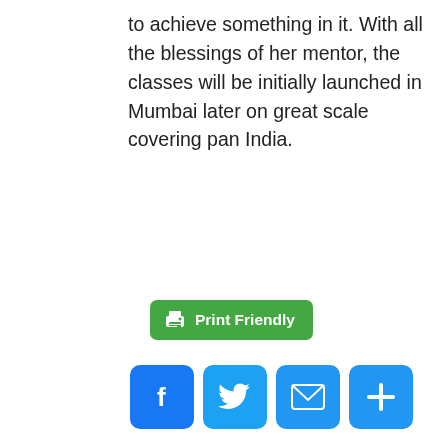to achieve something in it. With all the blessings of her mentor, the classes will be initially launched in Mumbai later on great scale covering pan India.
[Figure (other): Print Friendly button (green rounded rectangle with printer icon and text 'Print Friendly')]
[Figure (other): Social share icons row 1: Facebook (blue), Twitter (blue), Email (blue), Share/Plus (blue)]
[Figure (other): Social share icons row 2: Facebook (dark blue), Twitter (light blue), Email (dark), LinkedIn (blue), Telegram (light blue), Pinterest (red)]
« Motu Patloo's maker – writer and film director Harvinder Mankad will make special guests of – Kaun
Hindi film Belagaam Trailer Launched In Mumbai A Film By Producer Director D P